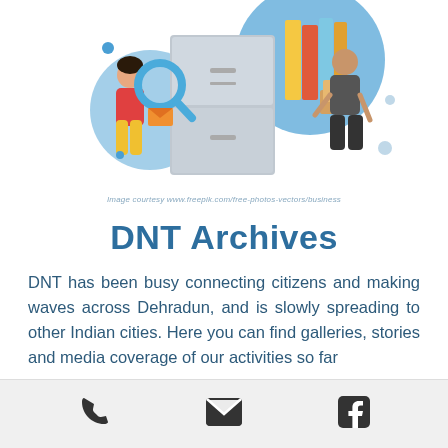[Figure (illustration): Illustration of people working with filing cabinets, folders, and boxes; one person with a magnifying glass, one carrying boxes; blue accent shapes in background]
Image courtesy www.freepik.com/free-photos-vectors/business
DNT Archives
DNT has been busy connecting citizens and making waves across Dehradun, and is slowly spreading to other Indian cities. Here you can find galleries, stories and media coverage of our activities so far
Take a Tour
[Figure (infographic): Footer bar with phone icon, email/envelope icon, and Facebook icon]